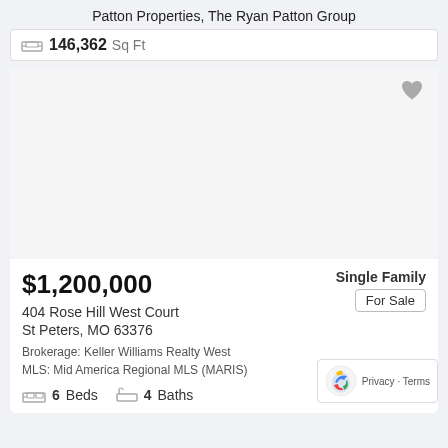Patton Properties, The Ryan Patton Group
146,362 Sq Ft
[Figure (photo): Property listing photo area (blank/white)]
$1,200,000
Single Family
For Sale
404 Rose Hill West Court
St Peters, MO 63376
Brokerage: Keller Williams Realty West
MLS: Mid America Regional MLS (MARIS)
6 Beds  4 Baths